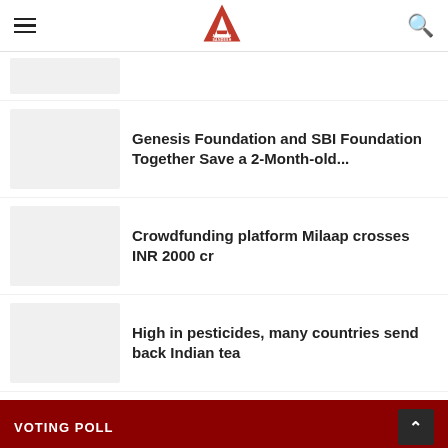Apeksha Sandesh
[Figure (other): Partial news thumbnail (top, cut off)]
Genesis Foundation and SBI Foundation Together Save a 2-Month-old...
Crowdfunding platform Milaap crosses INR 2000 cr
High in pesticides, many countries send back Indian tea
VOTING POLL
What do you think about WhatsApp's new privacy